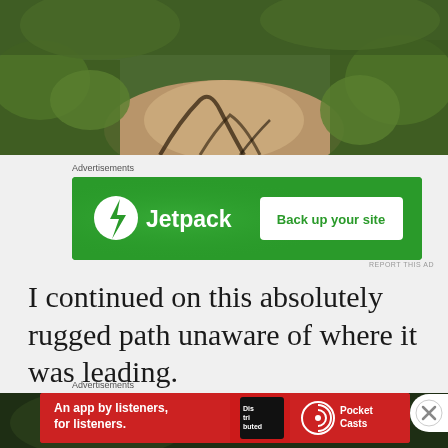[Figure (photo): A rugged dirt path with exposed roots, dry soil, and green vegetation on either side, photographed from above.]
Advertisements
[Figure (other): Jetpack advertisement banner with green background showing Jetpack logo and 'Back up your site' button]
REPORT THIS AD
I continued on this absolutely rugged path unaware of where it was leading.
[Figure (photo): Dark forest or dense vegetation scene, partially visible at bottom of page.]
Advertisements
[Figure (other): Pocket Casts advertisement with red background: 'An app by listeners, for listeners.' with phone graphic and Pocket Casts logo]
REPORT THIS AD